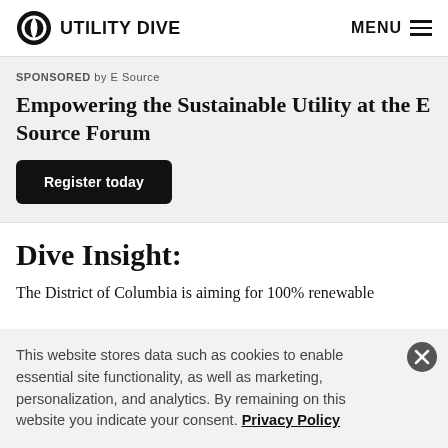UTILITY DIVE  MENU
SPONSORED by E Source
Empowering the Sustainable Utility at the E Source Forum
Register today
Dive Insight:
The District of Columbia is aiming for 100% renewable
This website stores data such as cookies to enable essential site functionality, as well as marketing, personalization, and analytics. By remaining on this website you indicate your consent. Privacy Policy